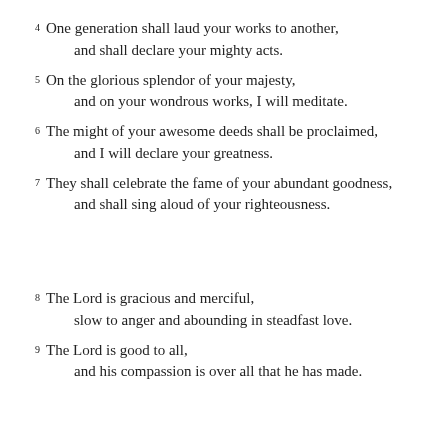4  One generation shall laud your works to another, and shall declare your mighty acts.
5  On the glorious splendor of your majesty, and on your wondrous works, I will meditate.
6  The might of your awesome deeds shall be proclaimed, and I will declare your greatness.
7  They shall celebrate the fame of your abundant goodness, and shall sing aloud of your righteousness.
8  The Lord is gracious and merciful, slow to anger and abounding in steadfast love.
9  The Lord is good to all, and his compassion is over all that he has made.
10  All your works shall give thanks to you, O Lord, and all your faithful shall bless you.